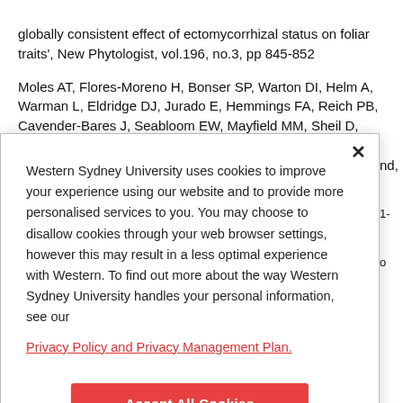globally consistent effect of ectomycorrhizal status on foliar traits', New Phytologist, vol.196, no.3, pp 845-852
Moles AT, Flores-Moreno H, Bonser SP, Warton DI, Helm A, Warman L, Eldridge DJ, Jurado E, Hemmings FA, Reich PB, Cavender-Bares J, Seabloom EW, Mayfield MM, Sheil D, Djietror JC, Peri PL, Enrico L, Cabido MR, Setterfield SA, Lehmann CER, Thomson FJ, (2012) 'Invasions: the trail behind, the path ahead, and a test of a disturbing idea', Journal of Ecology, vol.100, no.1, pp 116-127
Western Sydney University uses cookies to improve your experience using our website and to provide more personalised services to you. You may choose to disallow cookies through your web browser settings, however this may result in a less optimal experience with Western. To find out more about the way Western Sydney University handles your personal information, see our Privacy Policy and Privacy Management Plan.